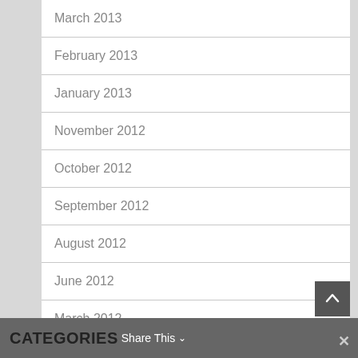March 2013
February 2013
January 2013
November 2012
October 2012
September 2012
August 2012
June 2012
March 2012
CATEGORIES  Share This  ×